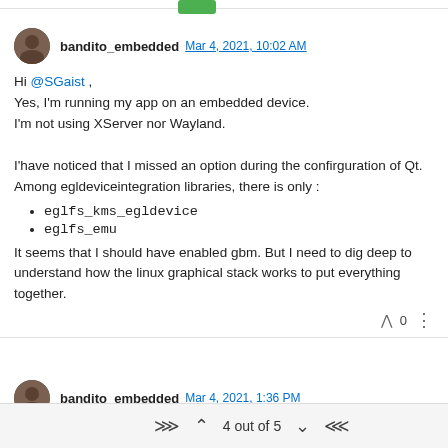bandito_embedded Mar 4, 2021, 10:02 AM
Hi @SGaist ,
Yes, I'm running my app on an embedded device.
I'm not using XServer nor Wayland.

I'have noticed that I missed an option during the confirguration of Qt. Among egldeviceintegration libraries, there is only :
eglfs_kms_egldevice
eglfs_emu
It seems that I should have enabled gbm. But I need to dig deep to understand how the linux graphical stack works to put everything together.
bandito_embedded Mar 4, 2021, 1:36 PM
4 out of 5